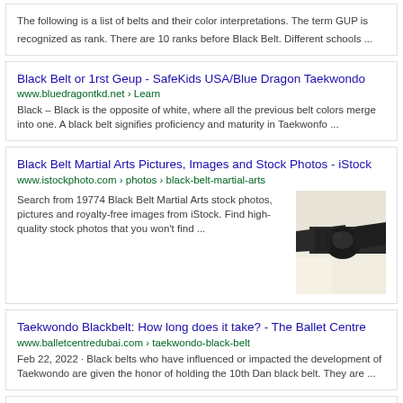The following is a list of belts and their color interpretations. The term GUP is recognized as rank. There are 10 ranks before Black Belt. Different schools ...
Black Belt or 1rst Geup - SafeKids USA/Blue Dragon Taekwondo
www.bluedragontkd.net › Learn
Black – Black is the opposite of white, where all the previous belt colors merge into one. A black belt signifies proficiency and maturity in Taekwonfo ...
Black Belt Martial Arts Pictures, Images and Stock Photos - iStock
www.istockphoto.com › photos › black-belt-martial-arts
Search from 19774 Black Belt Martial Arts stock photos, pictures and royalty-free images from iStock. Find high-quality stock photos that you won't find ...
[Figure (photo): Close-up photo of a black martial arts belt tied in a knot against a white gi]
Taekwondo Blackbelt: How long does it take? - The Ballet Centre
www.balletcentredubai.com › taekwondo-black-belt
Feb 22, 2022 · Black belts who have influenced or impacted the development of Taekwondo are given the honor of holding the 10th Dan black belt. They are ...
8 Youngest Black Belt Holders In History - Oldest.org